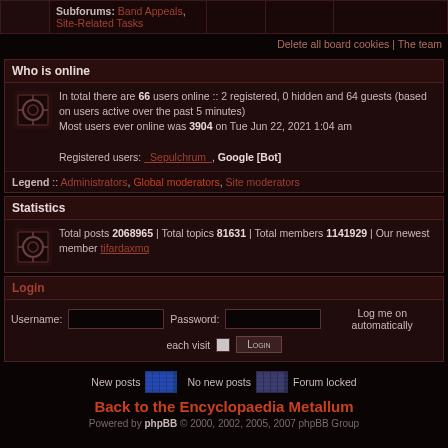|  | Subforums: Band Appeals, Site-Related Tasks |  |  |  |
| --- | --- | --- | --- | --- |
Delete all board cookies | The team
Who is online
In total there are 66 users online :: 2 registered, 0 hidden and 64 guests (based on users active over the past 5 minutes)
Most users ever online was 3904 on Tue Jun 22, 2021 1:04 am
Registered users: _Sepulchrum_, Google [Bot]
Legend :: Administrators, Global moderators, Site moderators
Statistics
Total posts 2068965 | Total topics 81631 | Total members 1141929 | Our newest member tifardaxmq
Login
Username: [input] Password: [input] Log me on automatically each visit [checkbox] LOGIN
New posts [icon] No new posts [icon] Forum locked
Back to the Encyclopaedia Metallum
Powered by phpBB © 2000, 2002, 2005, 2007 phpBB Group